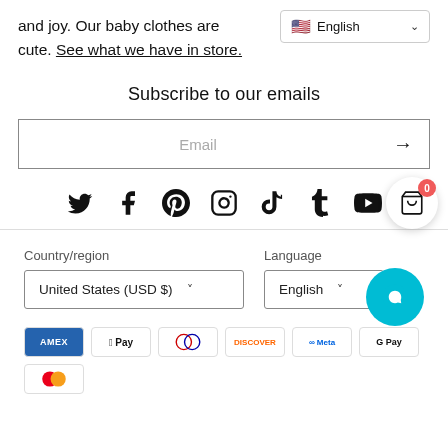and joy. Our baby clothes are cute. See what we have in store.
[Figure (screenshot): English language selector dropdown with US flag]
Subscribe to our emails
[Figure (screenshot): Email input field with arrow submit button]
[Figure (infographic): Social media icons: Twitter, Facebook, Pinterest, Instagram, TikTok, Tumblr, YouTube with shopping cart bubble showing 0]
Country/region
Language
[Figure (screenshot): Country/region dropdown: United States (USD $)]
[Figure (screenshot): Language dropdown: English]
[Figure (screenshot): Payment method icons: AMEX, Apple Pay, Diners, Discover, Meta Pay, Google Pay, Mastercard]